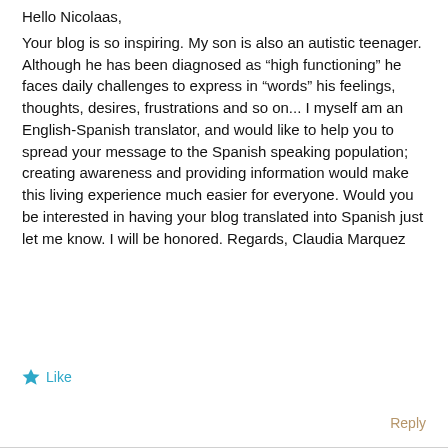Hello Nicolaas,
Your blog is so inspiring. My son is also an autistic teenager. Although he has been diagnosed as “high functioning” he faces daily challenges to express in “words” his feelings, thoughts, desires, frustrations and so on... I myself am an English-Spanish translator, and would like to help you to spread your message to the Spanish speaking population; creating awareness and providing information would make this living experience much easier for everyone. Would you be interested in having your blog translated into Spanish just let me know. I will be honored. Regards, Claudia Marquez
Like
Reply